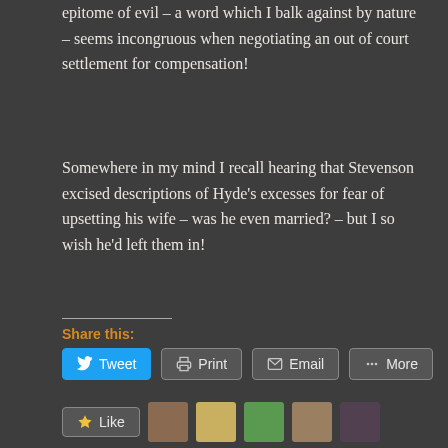epitome of evil – a word which I balk against by nature – seems incongruous when negotiating an out of court settlement for compensation!
Somewhere in my mind I recall hearing that Stevenson excised descriptions of Hyde's excesses for fear of upsetting his wife – was he even married? – but I so wish he'd left them in!
Share this:
Tweet  Print  Email  More
Like  5 bloggers like this.
Related